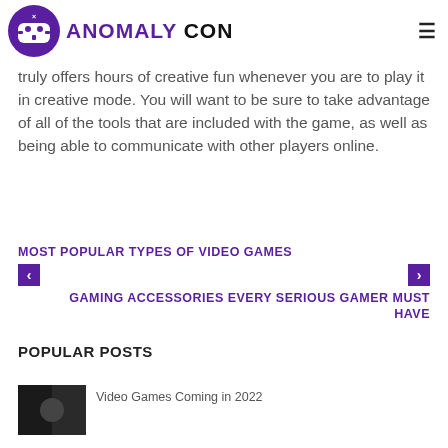Anomaly Con
truly offers hours of creative fun whenever you are to play it in creative mode. You will want to be sure to take advantage of all of the tools that are included with the game, as well as being able to communicate with other players online.
MOST POPULAR TYPES OF VIDEO GAMES
GAMING ACCESSORIES EVERY SERIOUS GAMER MUST HAVE
POPULAR POSTS
Video Games Coming in 2022